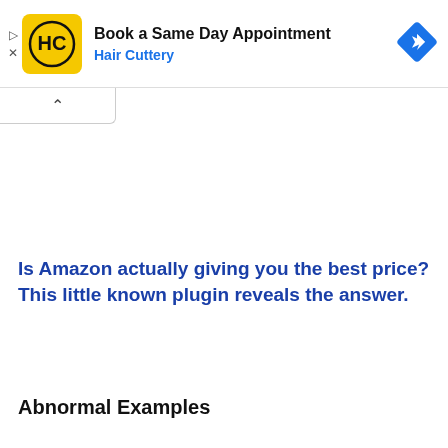[Figure (screenshot): Hair Cuttery advertisement banner: yellow square logo with HC letters, text 'Book a Same Day Appointment' and 'Hair Cuttery' in blue, blue diamond navigation icon on right]
Is Amazon actually giving you the best price? This little known plugin reveals the answer.
Abnormal Examples